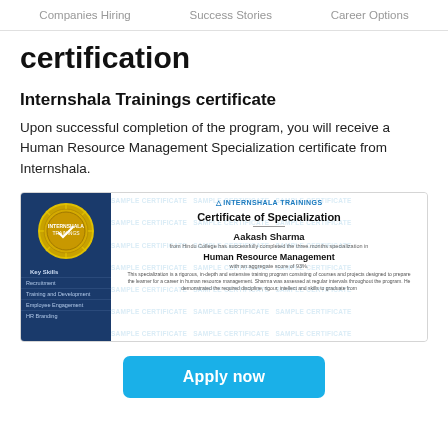Companies Hiring   Success Stories   Career Options
certification
Internshala Trainings certificate
Upon successful completion of the program, you will receive a Human Resource Management Specialization certificate from Internshala.
[Figure (illustration): Sample certificate image showing an Internshala Trainings Certificate of Specialization for Aakash Sharma in Human Resource Management, with a blue left panel showing a gold seal and key skills, and a right panel with certificate text watermarked with SAMPLE CERTIFICATE.]
Apply now